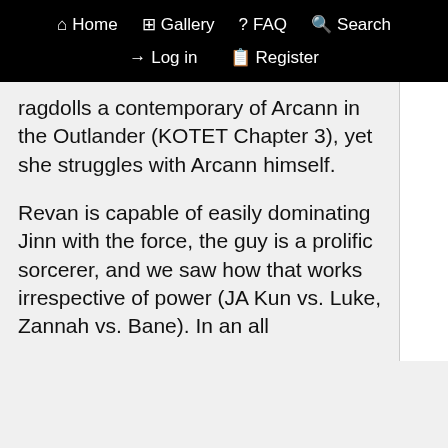🏠 Home  🖼 Gallery  ❓ FAQ  🔍 Search  🔑 Log in  📋 Register
ragdolls a contemporary of Arcann in the Outlander (KOTET Chapter 3), yet she struggles with Arcann himself.
Revan is capable of easily dominating Jinn with the force, the guy is a prolific sorcerer, and we saw how that works irrespective of power (JA Kun vs. Luke, Zannah vs. Bane). In an all